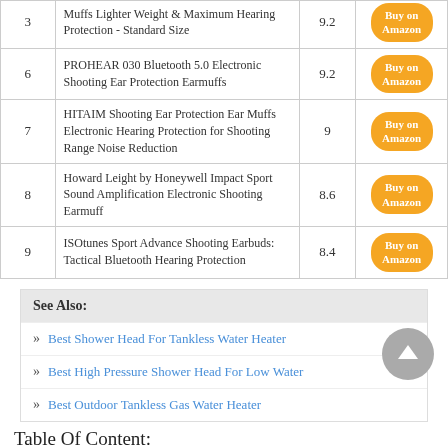| # | Product | Score | Link |
| --- | --- | --- | --- |
| 3 | Muffs Lighter Weight & Maximum Hearing Protection - Standard Size | 9.2 | Buy on Amazon |
| 6 | PROHEAR 030 Bluetooth 5.0 Electronic Shooting Ear Protection Earmuffs | 9.2 | Buy on Amazon |
| 7 | HITAIM Shooting Ear Protection Ear Muffs Electronic Hearing Protection for Shooting Range Noise Reduction | 9 | Buy on Amazon |
| 8 | Howard Leight by Honeywell Impact Sport Sound Amplification Electronic Shooting Earmuff | 8.6 | Buy on Amazon |
| 9 | ISOtunes Sport Advance Shooting Earbuds: Tactical Bluetooth Hearing Protection | 8.4 | Buy on Amazon |
See Also:
Best Shower Head For Tankless Water Heater
Best High Pressure Shower Head For Low Water
Best Outdoor Tankless Gas Water Heater
Table Of Content: